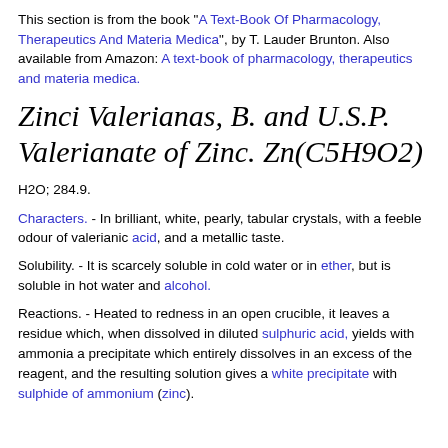This section is from the book "A Text-Book Of Pharmacology, Therapeutics And Materia Medica", by T. Lauder Brunton. Also available from Amazon: A text-book of pharmacology, therapeutics and materia medica.
Zinci Valerianas, B. and U.S.P. Valerianate of Zinc. Zn(C5H9O2)
H2O; 284.9.
Characters. - In brilliant, white, pearly, tabular crystals, with a feeble odour of valerianic acid, and a metallic taste.
Solubility. - It is scarcely soluble in cold water or in ether, but is soluble in hot water and alcohol.
Reactions. - Heated to redness in an open crucible, it leaves a residue which, when dissolved in diluted sulphuric acid, yields with ammonia a precipitate which entirely dissolves in an excess of the reagent, and the resulting solution gives a white precipitate with sulphide of ammonium (zinc).